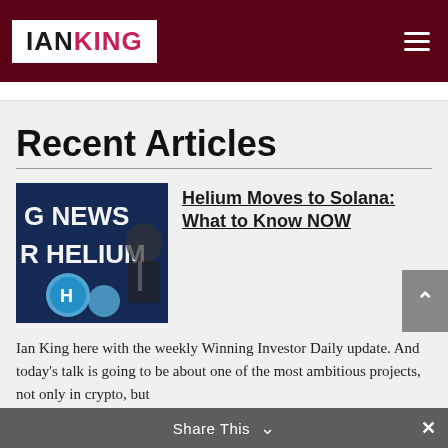IAN KING
Recent Articles
[Figure (photo): Thumbnail image with text 'G NEWS R HELIUM' overlaid on a dark blue background with Helium cryptocurrency coins and a person in a suit]
Helium Moves to Solana: What to Know NOW
Ian King here with the weekly Winning Investor Daily update. And today's talk is going to be about one of the most ambitious projects, not only in crypto, but
Share This